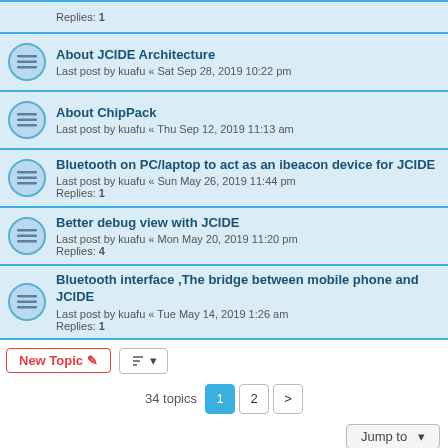About JCIDE Architecture
Last post by kuafu « Sat Sep 28, 2019 10:22 pm
About ChipPack
Last post by kuafu « Thu Sep 12, 2019 11:13 am
Bluetooth on PC/laptop to act as an ibeacon device for JCIDE
Last post by kuafu « Sun May 26, 2019 11:44 pm
Replies: 1
Better debug view with JCIDE
Last post by kuafu « Mon May 20, 2019 11:20 pm
Replies: 4
Bluetooth interface ,The bridge between mobile phone and JCIDE
Last post by kuafu « Tue May 14, 2019 1:26 am
Replies: 1
34 topics  1  2  >
Jump to
WHO IS ONLINE
Users browsing this forum: No registered users and 1 guest